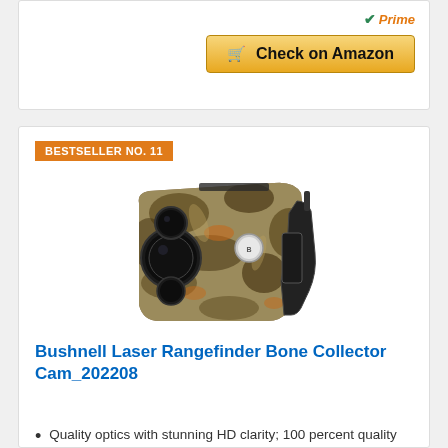[Figure (logo): Amazon Prime checkmark and 'Prime' text in orange italic]
[Figure (screenshot): Check on Amazon button with shopping cart icon, gold/orange gradient background]
BESTSELLER NO. 11
[Figure (photo): Bushnell laser rangefinder in camouflage pattern (Realtree) with multiple lenses visible]
Bushnell Laser Rangefinder Bone Collector Cam_202208
Quality optics with stunning HD clarity; 100 percent quality materials used and tested extensively